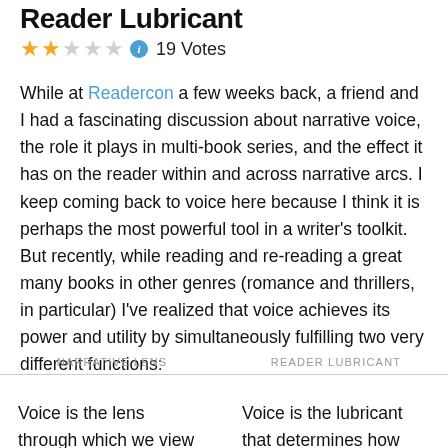Reader Lubricant
★★☆☆☆ ⓘ 19 Votes
While at Readercon a few weeks back, a friend and I had a fascinating discussion about narrative voice, the role it plays in multi-book series, and the effect it has on the reader within and across narrative arcs. I keep coming back to voice here because I think it is perhaps the most powerful tool in a writer's toolkit. But recently, while reading and re-reading a great many books in other genres (romance and thrillers, in particular) I've realized that voice achieves its power and utility by simultaneously fulfilling two very different functions:
NARRATIVE LENS
READER LUBRICANT
Voice is the lens through which we view the story's
Voice is the lubricant that determines how quickly